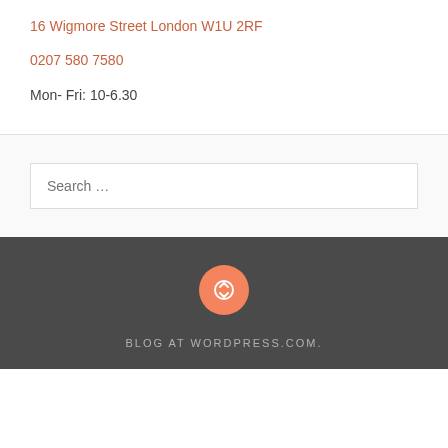16 Wigmore Street London W1U 2RF
0207 580 7580
Mon- Fri: 10-6.30
Search …
[Figure (logo): WordPress circular icon with refresh/sync arrows symbol in salmon/orange color on dark grey background]
BLOG AT WORDPRESS.COM.